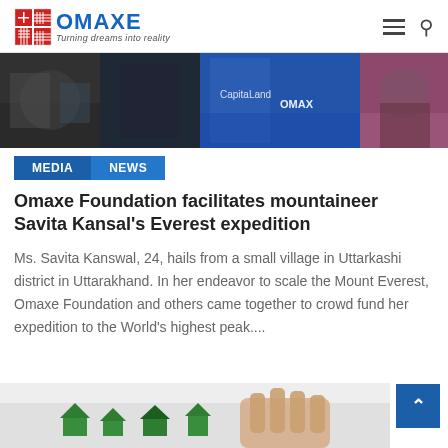[Figure (logo): Omaxe logo with red grid icon and blue OMAXE text, tagline 'Turning dreams into reality']
[Figure (photo): Banner image showing crowd/event photographs overlaid with partial text including 'CapitaLand' and 'OMAXE']
MEDIA
NEWS
Omaxe Foundation facilitates mountaineer Savita Kansal's Everest expedition
Ms. Savita Kanswal, 24, hails from a small village in Uttarkashi district in Uttarakhand. In her endeavor to scale the Mount Everest, Omaxe Foundation and others came together to crowd fund her expedition to the World's highest peak....
[Figure (photo): Partial image showing a hand holding small green house-shaped pieces (real estate metaphor)]